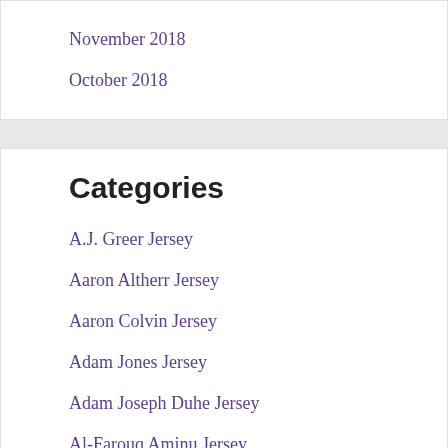November 2018
October 2018
Categories
A.J. Greer Jersey
Aaron Altherr Jersey
Aaron Colvin Jersey
Adam Jones Jersey
Adam Joseph Duhe Jersey
Al-Farouq Aminu Jersey
Aleksander Barkov Jersey